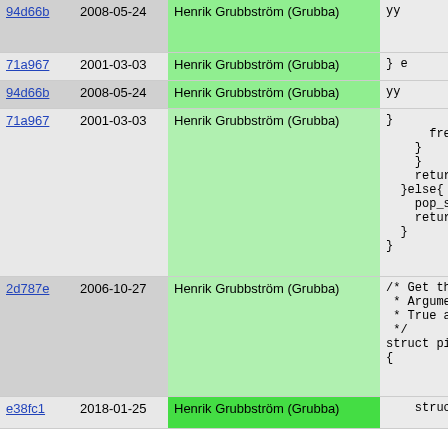| hash | date | author | code |
| --- | --- | --- | --- |
| 94d66b | 2008-05-24 | Henrik Grubbström (Grubba) | yy |
| 71a967 | 2001-03-03 | Henrik Grubbström (Grubba) | } e |
| 94d66b | 2008-05-24 | Henrik Grubbström (Grubba) | yy |
| 71a967 | 2001-03-03 | Henrik Grubbström (Grubba) | }
    free
    }
    }
    return p
  }else{
    pop_sta
    return (
  }
} |
| 2d787e | 2006-10-27 | Henrik Grubbström (Grubba) | /* Get the f
 * Argument
 * True argu
 */
struct pike_
{ |
| e38fc1 | 2018-01-25 | Henrik Grubbström (Grubba) | struct pib |